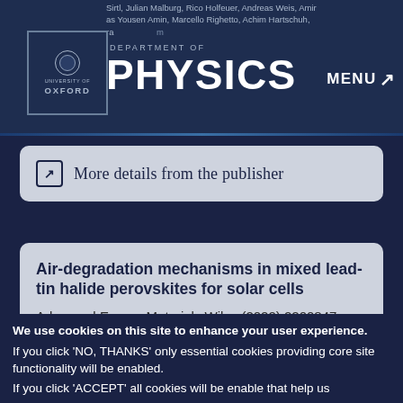Sirtl, Julian Malburg, Rico Holfeuer, Andreas Weis, Amir as Yousen Amin, Marcello Righetto, Achim Hartschuh, ra m | DEPARTMENT OF PHYSICS | MENU
More details from the publisher
Air-degradation mechanisms in mixed lead-tin halide perovskites for solar cells
Advanced Energy Materials Wiley (2022) 2200847
Authors:
Michael Johnston, Laura Herz
We use cookies on this site to enhance your user experience.
If you click 'NO, THANKS' only essential cookies providing core site functionality will be enabled.
If you click 'ACCEPT' all cookies will be enable that help us